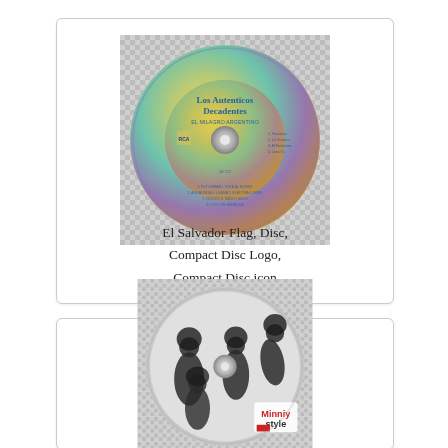[Figure (photo): A CD disc showing Los Autenticos Decadentes album art with colorful holographic design, text and track listing visible]
El Salvador Flag, Disc, Compact Disc Logo, Compact Disc icon
[Figure (photo): A CD disc showing black and white photo of band members with Minniy style logo in red and black at lower right]